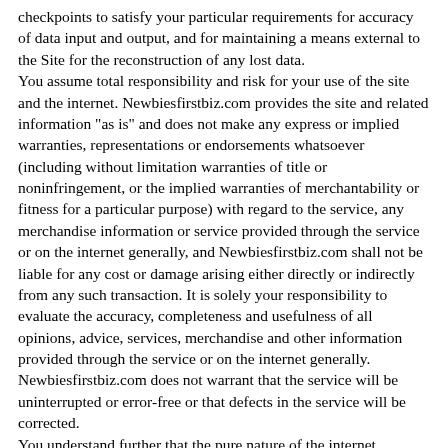checkpoints to satisfy your particular requirements for accuracy of data input and output, and for maintaining a means external to the Site for the reconstruction of any lost data. You assume total responsibility and risk for your use of the site and the internet. Newbiesfirstbiz.com provides the site and related information "as is" and does not make any express or implied warranties, representations or endorsements whatsoever (including without limitation warranties of title or noninfringement, or the implied warranties of merchantability or fitness for a particular purpose) with regard to the service, any merchandise information or service provided through the service or on the internet generally, and Newbiesfirstbiz.com shall not be liable for any cost or damage arising either directly or indirectly from any such transaction. It is solely your responsibility to evaluate the accuracy, completeness and usefulness of all opinions, advice, services, merchandise and other information provided through the service or on the internet generally. Newbiesfirstbiz.com does not warrant that the service will be uninterrupted or error-free or that defects in the service will be corrected. You understand further that the pure nature of the internet contains unedited materials some of which are sexually explicit or may be offensive to you. Your access to such materials is at your risk. Newbiesfirstbiz.com has no control over and accepts no responsibility whatsoever for such materials.